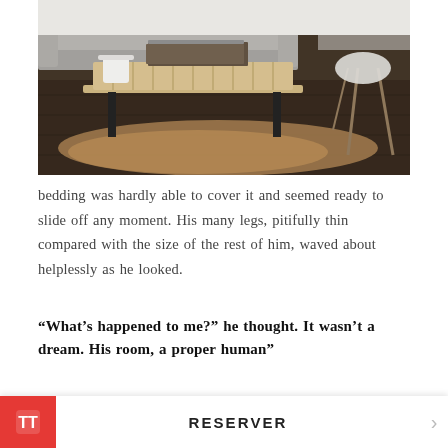[Figure (photo): Interior living room photo showing a wooden coffee table with books and a white ceramic cup on top, a grey sofa in the background, a cowhide rug on dark hardwood floor, and a white Eames-style chair on the right.]
bedding was hardly able to cover it and seemed ready to slide off any moment. His many legs, pitifully thin compared with the size of the rest of him, waved about helplessly as he looked.
“What’s happened to me?” he thought. It wasn’t a dream. His room, a proper human”
although a little too small, lay peacefully between its four One morn troubled dreams, he found himself transformed in his